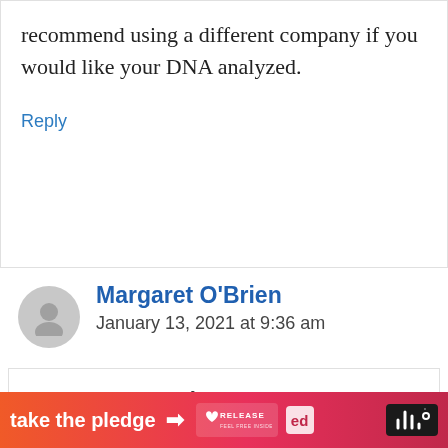recommend using a different company if you would like your DNA analyzed.
Reply
Margaret O'Brien
January 13, 2021 at 9:36 am
I'm starting to see a few similar comments. I'll make a
[Figure (infographic): Ad banner: orange-pink gradient background with 'take the pledge' text, arrow, RELEASE logo, ed logo, and sound wave icon on black background]